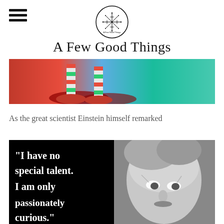A Few Good Things
[Figure (photo): Banner photo of colorful striped socks/shoes on a teal background]
As the great scientist Einstein himself remarked
[Figure (photo): Black and white photo of Einstein with overlaid quote: "I have no special talent. I am only passionately curious."]